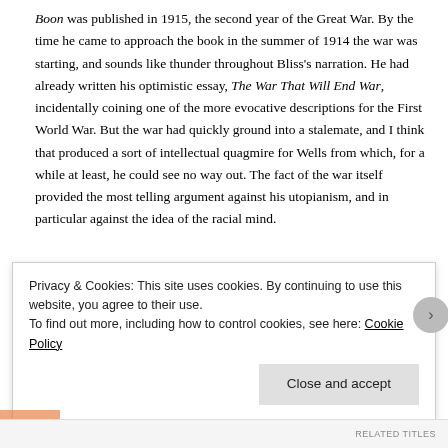Boon was published in 1915, the second year of the Great War. By the time he came to approach the book in the summer of 1914 the war was starting, and sounds like thunder throughout Bliss's narration. He had already written his optimistic essay, The War That Will End War, incidentally coining one of the more evocative descriptions for the First World War. But the war had quickly ground into a stalemate, and I think that produced a sort of intellectual quagmire for Wells from which, for a while at least, he could see no way out. The fact of the war itself provided the most telling argument against his utopianism, and in particular against the idea of the racial mind.
Privacy & Cookies: This site uses cookies. By continuing to use this website, you agree to their use.
To find out more, including how to control cookies, see here: Cookie Policy